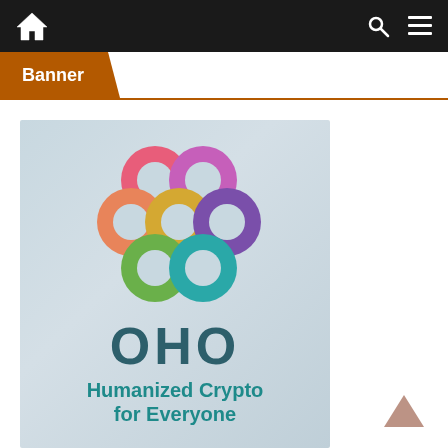Navigation bar with home, search, and menu icons
Banner
[Figure (logo): OHO Humanized Crypto for Everyone logo with colorful donut circles arranged in a flower pattern above large OHO text and tagline on a gray-blue background]